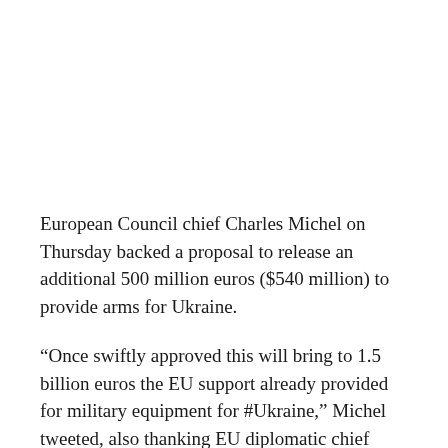European Council chief Charles Michel on Thursday backed a proposal to release an additional 500 million euros ($540 million) to provide arms for Ukraine.
“Once swiftly approved this will bring to 1.5 billion euros the EU support already provided for military equipment for #Ukraine,” Michel tweeted, also thanking EU diplomatic chief Josep Borrell for proposing the extra funding.
The proposal was agreed on Thursday by the 27 EU